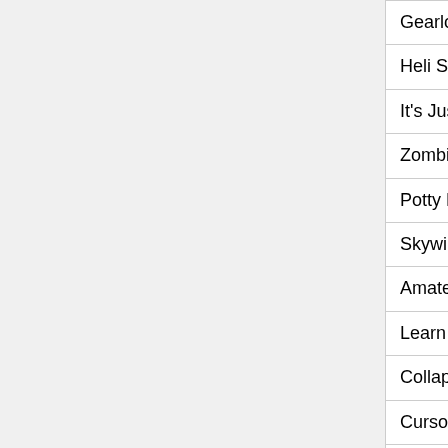| Game | Genre |
| --- | --- |
| Gearlock | RPG |
| Heli Strike | Shooter |
| It's Just TIC TAC TWO | Puzzle |
| Zombie Breakout | Action |
| Potty Racers III | Racing |
| Skywire 2 | Arcade |
| Amateur Surgeon | Simulation |
| Learn to Fly | Arcade |
| Collapse! | Puzzle |
| Cursor Race | Racing |
| Pussymon: Episode 15 - Special Edition | RPG |
| Ayame's Pleasure | Adult |
| The Alien's Adventure | Escape the Room |
| The battle of Undermountain RTS | Strategy |